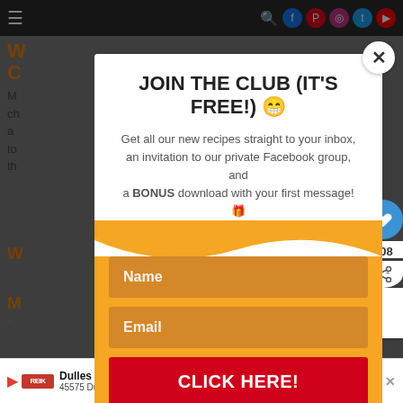[Figure (screenshot): Website screenshot showing a modal popup overlay. The background shows a recipe website with orange/yellow branding, top navigation bar with hamburger menu and social icons. The modal titled 'JOIN THE CLUB (IT'S FREE!)' contains a subtitle about recipes and Facebook group, a name field, email field, and a red CLICK HERE button. Right side shows heart/share buttons and a 'What's Next: Mexican Corn Salad' panel. Bottom shows a Dulles store advertisement bar.]
JOIN THE CLUB (IT'S FREE!) 😁
Get all our new recipes straight to your inbox, an invitation to our private Facebook group, and a BONUS download with your first message! 🎁
Name
Email
CLICK HERE!
WHAT'S NEXT → Mexican Corn Salad
Dulles OPEN | 10AM–8PM 45575 Dulles Eastern Plaza, Suite 171, D